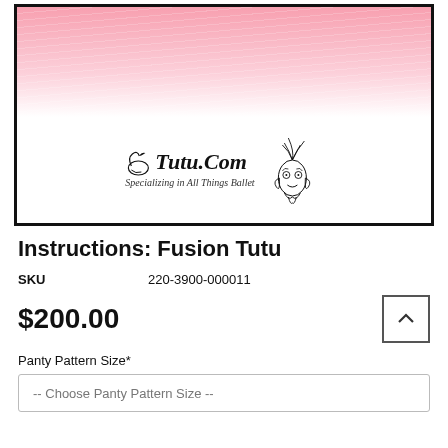[Figure (photo): Product photo showing a pink tutu with the Tutu.Com logo and tagline 'Specializing in All Things Ballet' inside a black-bordered frame. A decorative flourish illustration appears to the right of the logo.]
Instructions: Fusion Tutu
| SKU | 220-3900-000011 |
| --- | --- |
$200.00
Panty Pattern Size*
-- Choose Panty Pattern Size --